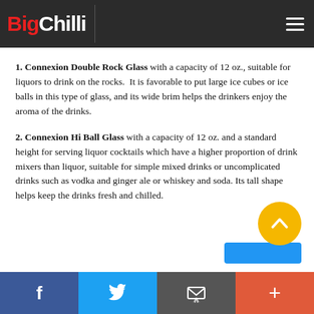Big Chilli
1. Connexion Double Rock Glass with a capacity of 12 oz., suitable for liquors to drink on the rocks. It is favorable to put large ice cubes or ice balls in this type of glass, and its wide brim helps the drinkers enjoy the aroma of the drinks.
2. Connexion Hi Ball Glass with a capacity of 12 oz. and a standard height for serving liquor cocktails which have a higher proportion of drink mixers than liquor, suitable for simple mixed drinks or uncomplicated drinks such as vodka and ginger ale or whiskey and soda. Its tall shape helps keep the drinks fresh and chilled.
f  Twitter  Email  +